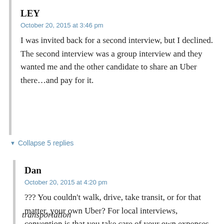LEY
October 20, 2015 at 3:46 pm
I was invited back for a second interview, but I declined. The second interview was a group interview and they wanted me and the other candidate to share an Uber there…and pay for it.
▼ Collapse 5 replies
Dan
October 20, 2015 at 4:20 pm
??? You couldn't walk, drive, take transit, or for that matter, your own Uber? For local interviews, convention is that you take care of your own expenses, but similar convention is that you're a big person and can figure out your own mode of transportation.